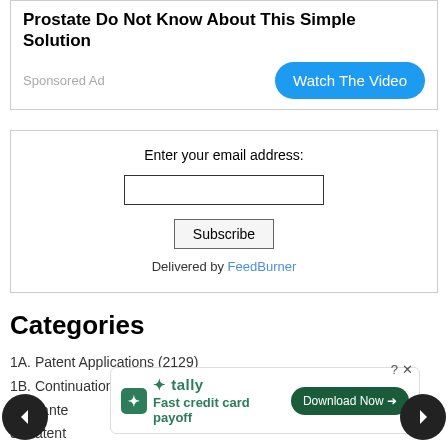[Figure (screenshot): Advertisement box with bold headline about prostate solution, 'Sponsored Ad' label, and blue 'Watch The Video' button]
Enter your email address:
[Figure (screenshot): Email subscription box with input field, Subscribe button, and 'Delivered by FeedBurner' text]
Categories
1A. Patent Applications (2129)
1B. Continuation Patents (92)
2. Grante
3. Patent
Traden
More
[Figure (screenshot): Tally app advertisement: 'Fast credit card payoff' with Download Now button, X close button, and ? help button. Navigation arrows on left and right.]